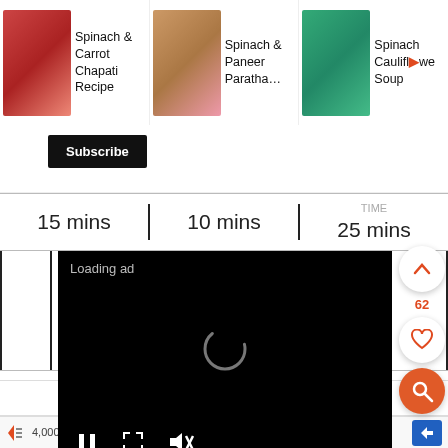[Figure (screenshot): Screenshot of a recipe website showing navigation items: Spinach & Carrot Chapati Recipe, Spinach & Paneer Paratha..., Spinach Cauliflower Soup with thumbnail images]
Subscribe
15 mins    10 mins    TIME 25 mins
[Figure (screenshot): Black video player overlay showing 'Loading ad' text, a spinner icon, and media controls (pause, fullscreen, mute)]
CO
62
6 to 8 paratha
X
4,000+ Bitcoin ATM Locations Nationwide! Find Yours Today.